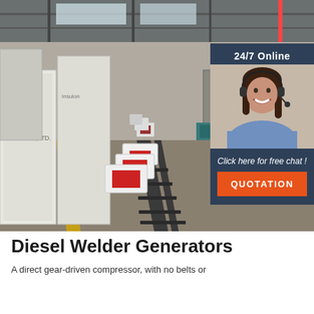[Figure (photo): Interior of a large industrial warehouse/factory showing equipment (diesel welder generators) lined up along a rail track. White shipping containers visible on left side. Overhead steel structure roof. A customer service chat widget overlaid on the right side showing a smiling woman with headset, text '24/7 Online', 'Click here for free chat!', and an orange 'QUOTATION' button.]
Diesel Welder Generators
A direct gear-driven compressor, with no belts or